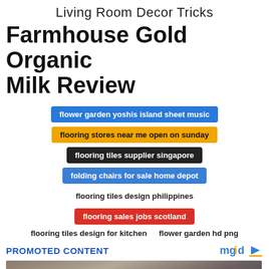Living Room Decor Tricks
Farmhouse Gold Organic Milk Review
flower garden yoshis island sheet music
flooring stores near me open on sunday
flooring tiles supplier singapore
folding chairs for sale home depot
flooring tiles design philippines
flooring sales jobs scotland
flooring tiles design for kitchen   flower garden hd png
PROMOTED CONTENT
[Figure (photo): Photo of people working near boats or watercraft, with a CLOSE button overlay]